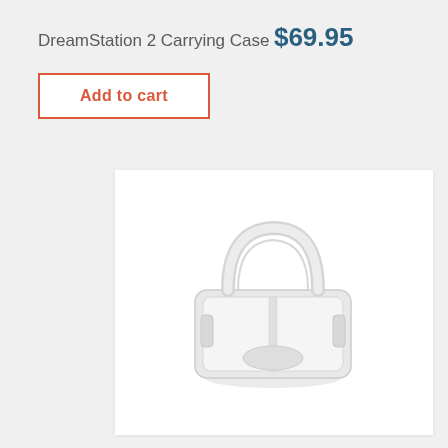DreamStation 2 Carrying Case
$69.95
Add to cart
[Figure (photo): DreamStation 2 Carrying Case product image — a translucent white plastic rectangular carrying case with a rounded arch handle on top and molded interior compartments, shown from a slight angle on a white background.]